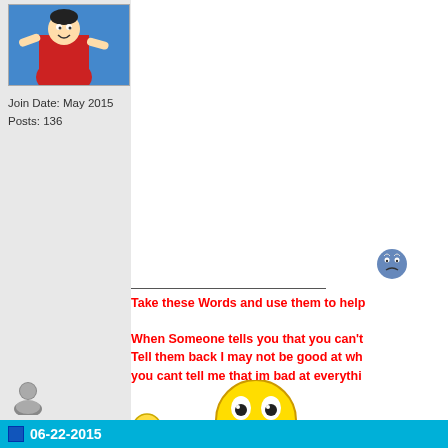[Figure (illustration): Anime character avatar in red outfit with blue background]
Join Date: May 2015
Posts: 136
[Figure (illustration): Blue sad/confused emoticon smiley face]
Take these Words and use them to help
When Someone tells you that you can't
Tell them back I may not be good at wh
you cant tell me that im bad at everythi
[Figure (illustration): Large epic face meme smiley (yellow with big grin)]
[Figure (illustration): Small yellow neutral/sad smiley face emoticon]
Last edited by naruto beast; 06-23-2015 at 09:08 A
[Figure (illustration): Generic user/guest icon silhouette]
06-22-2015